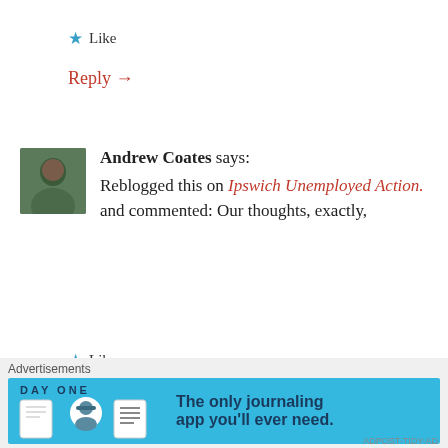★ Like
Reply →
Andrew Coates says:
Reblogged this on Ipswich Unemployed Action. and commented: Our thoughts, exactly,
★ Like
Reply →
Advertisements
[Figure (infographic): Day One journaling app advertisement banner with blue background showing app icons and text: The only journaling app you'll ever need.]